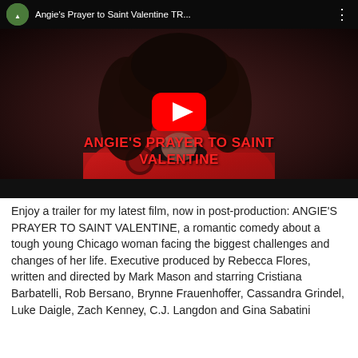[Figure (screenshot): YouTube video thumbnail showing a young woman with curly dark hair wearing a red Chicago Blackhawks jersey. The video title shown is 'Angie's Prayer to Saint Valentine TR...' with a YouTube channel icon, three-dot menu, large red play button in center, and red text overlay reading 'ANGIE'S PRAYER TO SAINT VALENTINE' on a dark background.]
Enjoy a trailer for my latest film, now in post-production: ANGIE'S PRAYER TO SAINT VALENTINE, a romantic comedy about a tough young Chicago woman facing the biggest challenges and changes of her life. Executive produced by Rebecca Flores, written and directed by Mark Mason and starring Cristiana Barbatelli, Rob Bersano, Brynne Frauenhoffer, Cassandra Grindel, Luke Daigle, Zach Kenney, C.J. Langdon and Gina Sabatini